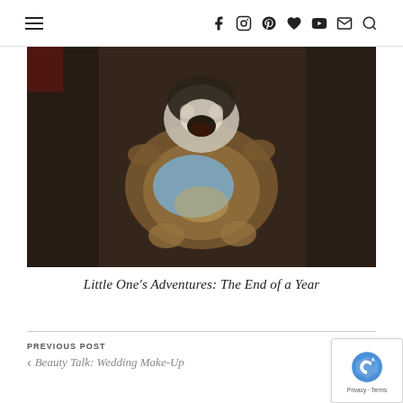Navigation header with hamburger menu and social/utility icons: Facebook, Instagram, Pinterest, Heart/Bloglovin, YouTube, Email, Search
[Figure (photo): A dog lying on its back on a dark brown couch, wearing a light blue outfit/sweater, with its paws up and mouth open.]
Little One's Adventures: The End of a Year
PREVIOUS POST
< Beauty Talk: Wedding Make-Up